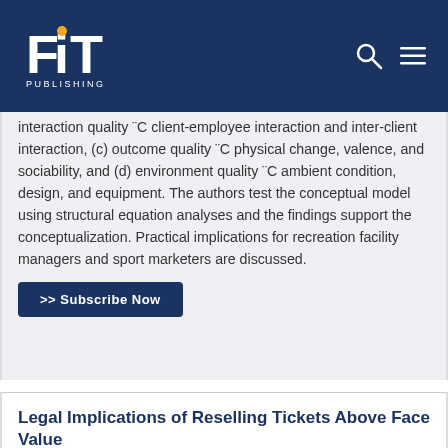[Figure (logo): FiT Publishing logo — white text on dark navy background with orange dot on the letter i]
interaction quality ¨C client-employee interaction and inter-client interaction, (c) outcome quality ¨C physical change, valence, and sociability, and (d) environment quality ¨C ambient condition, design, and equipment. The authors test the conceptual model using structural equation analyses and the findings support the conceptualization. Practical implications for recreation facility managers and sport marketers are discussed.
>> Subscribe Now
Legal Implications of Reselling Tickets Above Face Value
Authors: James T. Reese, David L. Snyder